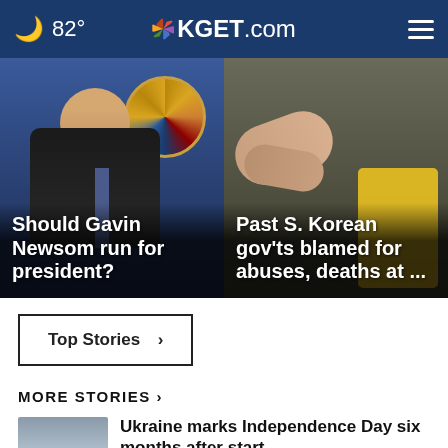82° KGET.com
[Figure (photo): Man in suit smiling in front of official seal]
Should Gavin Newsom run for president?
[Figure (photo): People in yellow jacket, hands reaching]
Past S. Korean gov'ts blamed for abuses, deaths at ...
Top Stories ›
MORE STORIES ›
[Figure (photo): Silhouette of figures against cloudy sky]
Ukraine marks Independence Day six months after start ...